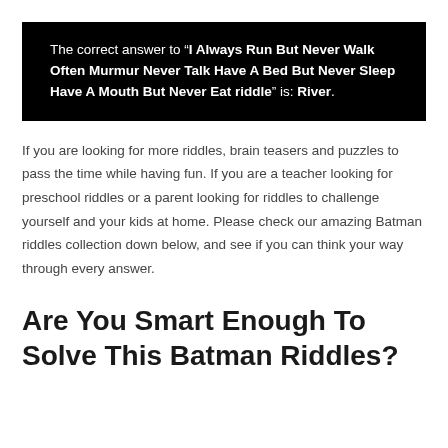The correct answer to “I Always Run But Never Walk Often Murmur Never Talk Have A Bed But Never Sleep Have A Mouth But Never Eat riddle” is: River.
If you are looking for more riddles, brain teasers and puzzles to pass the time while having fun. If you are a teacher looking for preschool riddles or a parent looking for riddles to challenge yourself and your kids at home. Please check our amazing Batman riddles collection down below, and see if you can think your way through every answer.
Are You Smart Enough To Solve This Batman Riddles?